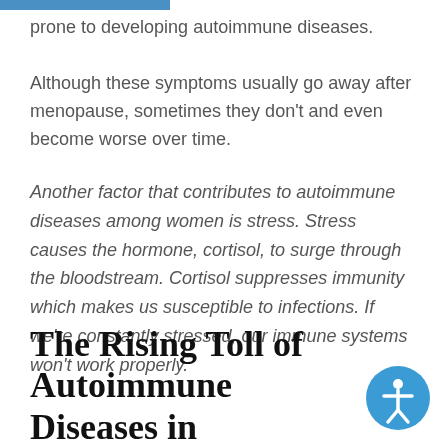prone to developing autoimmune diseases. Although these symptoms usually go away after menopause, sometimes they don't and even become worse over time.
Another factor that contributes to autoimmune diseases among women is stress. Stress causes the hormone, cortisol, to surge through the bloodstream. Cortisol suppresses immunity which makes us susceptible to infections. If we're constantly stressed, our immune systems won't work properly.
The Rising Toll of Autoimmune Diseases in